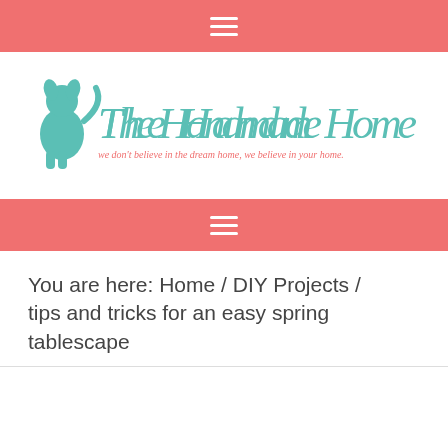navigation bar top
[Figure (logo): The Handmade Home logo with a dog silhouette and teal script/serif text reading 'The Handmade Home', tagline: 'we don't believe in the dream home, we believe in your home.']
navigation bar bottom
You are here: Home / DIY Projects / tips and tricks for an easy spring tablescape